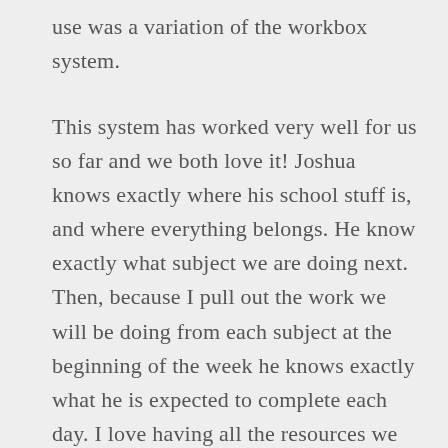use was a variation of the workbox system.
This system has worked very well for us so far and we both love it! Joshua knows exactly where his school stuff is, and where everything belongs. He know exactly what subject we are doing next. Then, because I pull out the work we will be doing from each subject at the beginning of the week he knows exactly what he is expected to complete each day. I love having all the resources we use kept together in one spot! This way